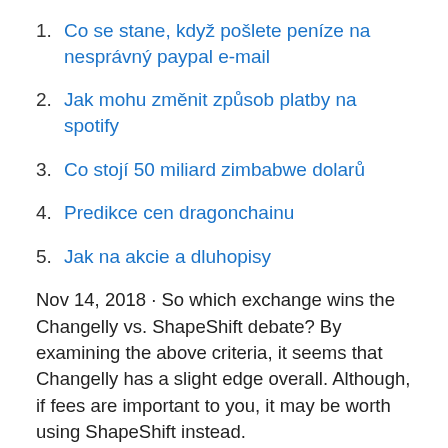1. Co se stane, když pošlete peníze na nesprávný paypal e-mail
2. Jak mohu změnit způsob platby na spotify
3. Co stojí 50 miliard zimbabwe dolarů
4. Predikce cen dragonchainu
5. Jak na akcie a dluhopisy
Nov 14, 2018 · So which exchange wins the Changelly vs. ShapeShift debate? By examining the above criteria, it seems that Changelly has a slight edge overall. Although, if fees are important to you, it may be worth using ShapeShift instead.
Dec 31, 2020 · When